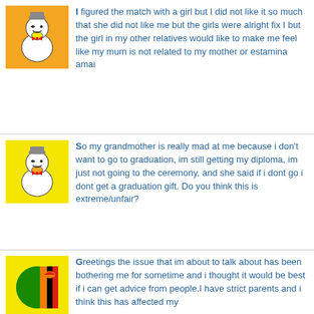I figured the match with a girl but I did not like it so much that she did not like me but the girls were alright fix I but the girl in my other relatives would like to make me feel like my mum is not related to my mother or estamina amai
So my grandmother is really mad at me because i don't want to go to graduation, im still getting my diploma, im just not going to the ceremony, and she said if i dont go i dont get a graduation gift. Do you think this is extreme/unfair?
Greetings the issue that im about to talk about has been bothering me for sometime and i thought it would be best if i can get advice from people.I have strict parents and i think this has affected my